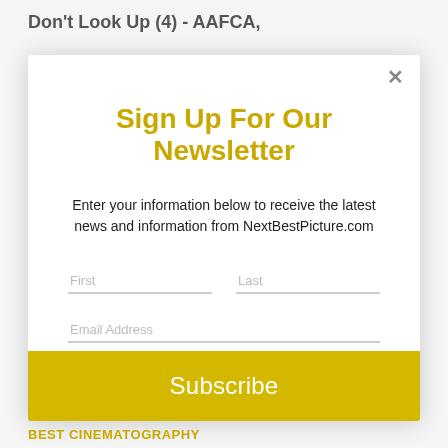Don't Look Up (4) - AAFCA,
Sign Up For Our Newsletter
Enter your information below to receive the latest news and information from NextBestPicture.com
First
Last
Email Address
Subscribe
BEST CINEMATOGRAPHY